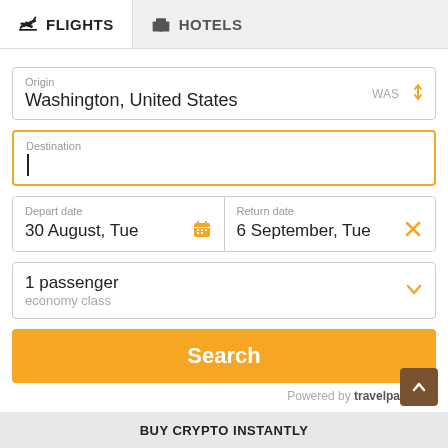FLIGHTS
HOTELS
Origin
Washington, United States
WAS
Destination
Depart date
30 August, Tue
Return date
6 September, Tue
1 passenger
economy class
Search
Powered by travelpayouts
BUY CRYPTO INSTANTLY